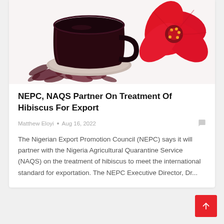[Figure (photo): Photo of hibiscus tea in a glass cup with dried hibiscus petals scattered around and a large red hibiscus flower on white background]
NEPC, NAQS Partner On Treatment Of Hibiscus For Export
Matthew Eloyi  •  Aug 16, 2022
The Nigerian Export Promotion Council (NEPC) says it will partner with the Nigeria Agricultural Quarantine Service (NAQS) on the treatment of hibiscus to meet the international standard for exportation. The NEPC Executive Director, Dr...